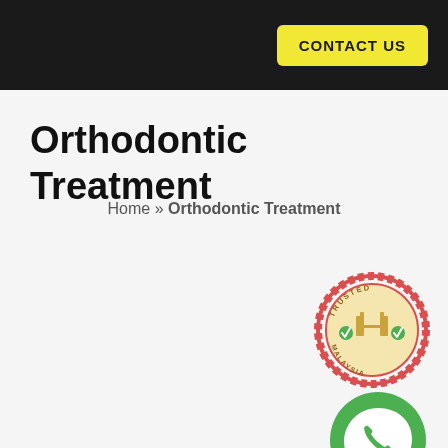CONTACT US
Orthodontic Treatment
Home » Orthodontic Treatment
[Figure (logo): Trusted Malaysia badge/seal with Petronas towers icon and checkmarks]
[Figure (logo): WhatsApp icon - green circle with white speech bubble and phone handset]